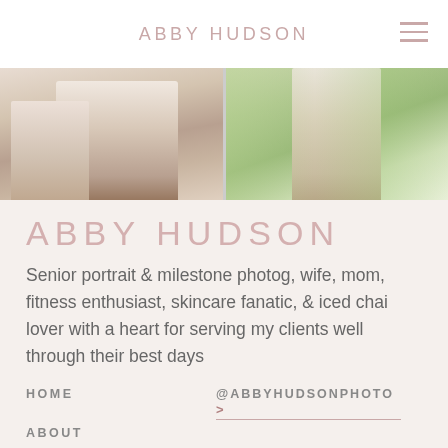ABBY HUDSON
[Figure (photo): Two side-by-side cropped photos: left shows a couple holding hands near water, right shows a woman in a floral dress walking on a path with green vegetation.]
ABBY HUDSON
Senior portrait & milestone photog, wife, mom, fitness enthusiast, skincare fanatic, & iced chai lover with a heart for serving my clients well through their best days
HOME
@ABBYHUDSONPHOTO
ABOUT